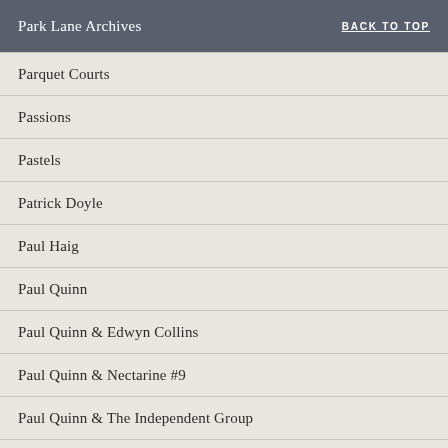Park Lane Archives | BACK TO TOP
Parquet Courts
Passions
Pastels
Patrick Doyle
Paul Haig
Paul Quinn
Paul Quinn & Edwyn Collins
Paul Quinn & Nectarine #9
Paul Quinn & The Independent Group
Paul Weller
Paul Weller Movement
Pauline Murray & The Invisible Girls